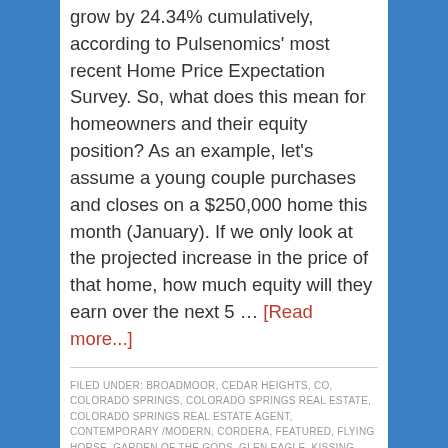grow by 24.34% cumulatively, according to Pulsenomics' most recent Home Price Expectation Survey. So, what does this mean for homeowners and their equity position? As an example, let's assume a young couple purchases and closes on a $250,000 home this month (January). If we only look at the projected increase in the price of that home, how much equity will they earn over the next 5 … [Read more...]
FILED UNDER: BROADMOOR, CEDAR HEIGHTS, CO, COLORADO SPRINGS, COLORADO SPRINGS REAL ESTATE, COLORADO SPRINGS REAL ESTATE AGENT, CONTEMPORARY/MODERN, CORDERA, FEATURED, FLYING HORSE, GARDEN OF THE GODS, GLEN EAGLE, KISSING CAMELS, MONUMENT, MOUNTAIN SHADOWS, NEWS, PINE CREEK, PLEASANT VIEW ESTATES, POWERS, ROCKRIMMON, SERENITY PARK, SOUTHWEST DISTRICT 12, STETSON HILLS, SUNSET MESA, VALLEY HI, VILLAGE 7, VISTA GRANDE TERRACE, WOLF RANCH